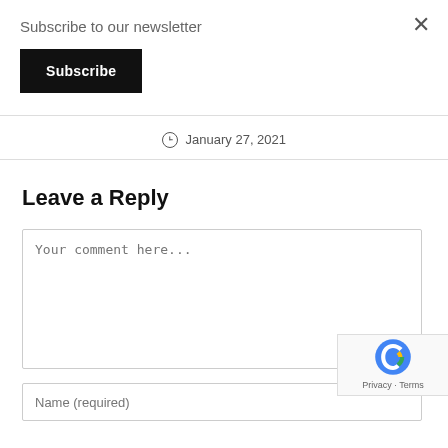Subscribe to our newsletter
Subscribe
January 27, 2021
Leave a Reply
Your comment here...
Name (required)